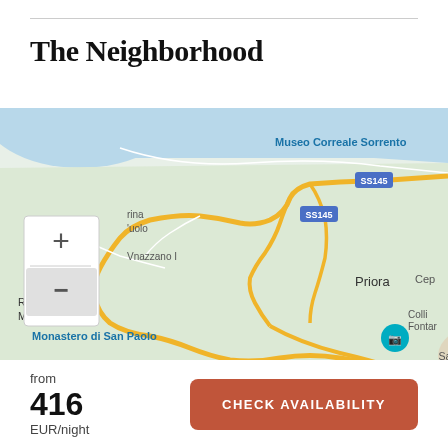The Neighborhood
[Figure (map): Google Maps view of Sorrento area, Italy, showing roads SS145, locations like Museo Correale Sorrento, Sorrento, Priora, Riviera di Marcigliano, Monastero di San Paolo, Massa Lubrense, Sant'Agata sui Due Golfi, Cep, Colli Fontan. Map zoom controls (+/-) visible top-left.]
from
416
EUR/night
CHECK AVAILABILITY